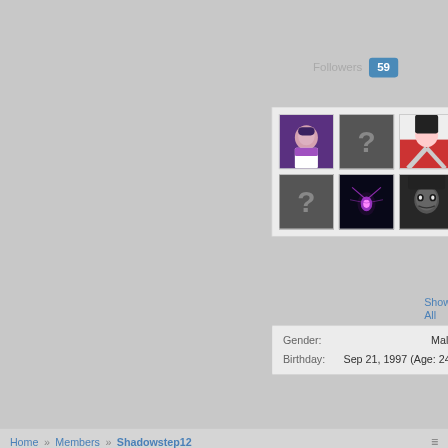Followers  59
[Figure (screenshot): Grid of 6 follower avatars: anime maid character (purple tones), question mark placeholder (dark), anime girl in red/white, question mark placeholder (dark), glowing insect character (dark blue/purple), dark anime character with face paint]
Show All
| Field | Value |
| --- | --- |
| Gender: | Male |
| Birthday: | Sep 21, 1997 (Age: 24) |
Home » Members » Shadowstep12
⚙ Light Responsive  ⚙ English - 12 Hour Clock
✉ Contact Us  🏠  ▲  ⊕
Help   Terms and Rules   Privacy Policy   Style by Arty
Forum software by XenForo®